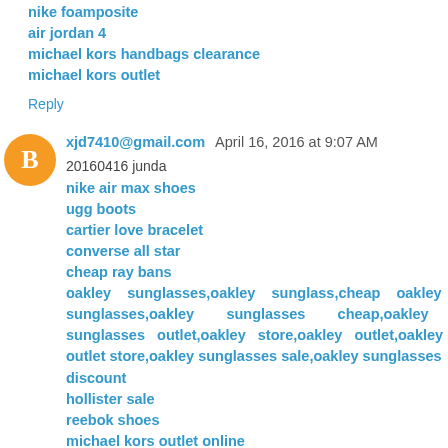nike foamposite
air jordan 4
michael kors handbags clearance
michael kors outlet
Reply
xjd7410@gmail.com  April 16, 2016 at 9:07 AM
20160416 junda
nike air max shoes
ugg boots
cartier love bracelet
converse all star
cheap ray bans
oakley sunglasses,oakley sunglass,cheap oakley sunglasses,oakley sunglasses cheap,oakley sunglasses outlet,oakley store,oakley outlet,oakley outlet store,oakley sunglasses sale,oakley sunglasses discount
hollister sale
reebok shoes
michael kors outlet online